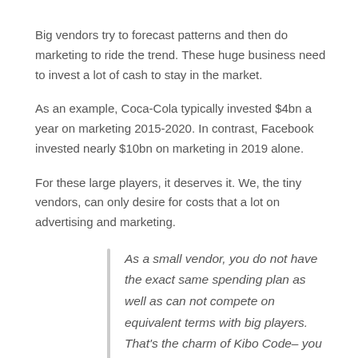Big vendors try to forecast patterns and then do marketing to ride the trend. These huge business need to invest a lot of cash to stay in the market.
As an example, Coca-Cola typically invested $4bn a year on marketing 2015-2020. In contrast, Facebook invested nearly $10bn on marketing in 2019 alone.
For these large players, it deserves it. We, the tiny vendors, can only desire for costs that a lot on advertising and marketing.
As a small vendor, you do not have the exact same spending plan as well as can not compete on equivalent terms with big players. That's the charm of Kibo Code– you do not need a big budget plan in all.